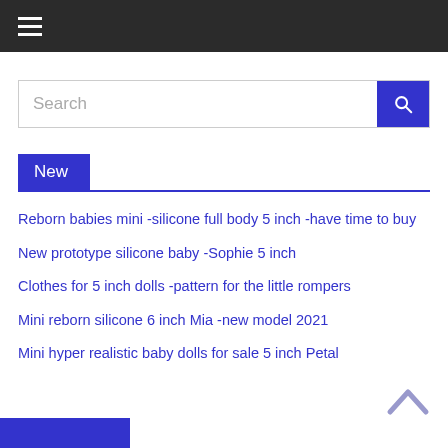≡ (hamburger menu)
Search
New
Reborn babies mini -silicone full body 5 inch -have time to buy
New prototype silicone baby -Sophie 5 inch
Clothes for 5 inch dolls -pattern for the little rompers
Mini reborn silicone 6 inch Mia -new model 2021
Mini hyper realistic baby dolls for sale 5 inch Petal